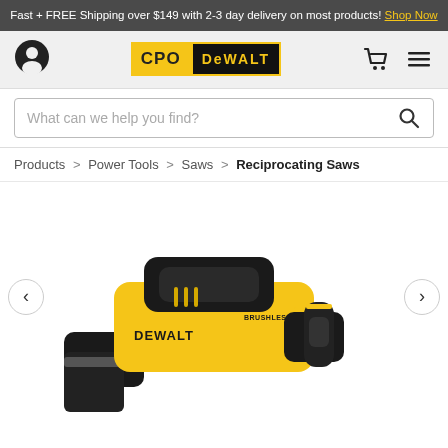Fast + FREE Shipping over $149 with 2-3 day delivery on most products! Shop Now
[Figure (logo): CPO DeWalt logo with user icon, cart icon, and hamburger menu]
What can we help you find?
Products > Power Tools > Saws > Reciprocating Saws
[Figure (photo): DeWalt brushless reciprocating saw, yellow and black, shown at an angle with blade visible]